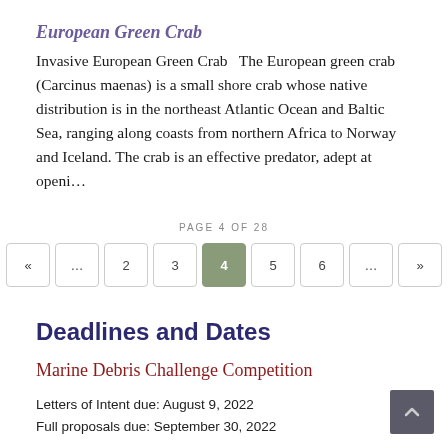European Green Crab
Invasive European Green Crab   The European green crab (Carcinus maenas) is a small shore crab whose native distribution is in the northeast Atlantic Ocean and Baltic Sea, ranging along coasts from northern Africa to Norway and Iceland. The crab is an effective predator, adept at openi…
PAGE 4 OF 28
[Figure (other): Pagination control showing pages: «, …, 2, 3, 4 (active/highlighted), 5, 6, …, »]
Deadlines and Dates
Marine Debris Challenge Competition
Letters of Intent due: August 9, 2022
Full proposals due: September 30, 2022